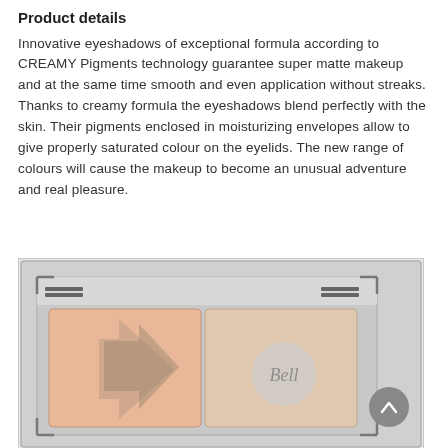Product details
Innovative eyeshadows of exceptional formula according to CREAMY Pigments technology guarantee super matte makeup and at the same time smooth and even application without streaks. Thanks to creamy formula the eyeshadows blend perfectly with the skin. Their pigments enclosed in moisturizing envelopes allow to give properly saturated colour on the eyelids. The new range of colours will cause the makeup to become an unusual adventure and real pleasure.
[Figure (photo): Close-up photo of a Bell eyeshadow palette compact showing two pans of peach/nude eyeshadow colors with a diagonal line between them and the Bell brand logo in grey. The palette has a silver/chrome metallic frame with corner details.]